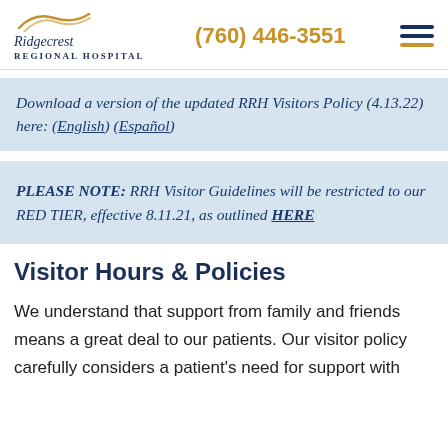Ridgecrest Regional Hospital | (760) 446-3551
Download a version of the updated RRH Visitors Policy (4.13.22) here: (English) (Español)
PLEASE NOTE: RRH Visitor Guidelines will be restricted to our RED TIER, effective 8.11.21, as outlined HERE
Visitor Hours & Policies
We understand that support from family and friends means a great deal to our patients. Our visitor policy carefully considers a patient's need for support with